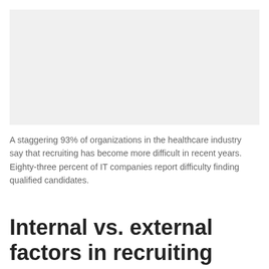[Figure (other): Light gray rectangular image placeholder at the top of the page]
A staggering 93% of organizations in the healthcare industry say that recruiting has become more difficult in recent years. Eighty-three percent of IT companies report difficulty finding qualified candidates.
Internal vs. external factors in recruiting